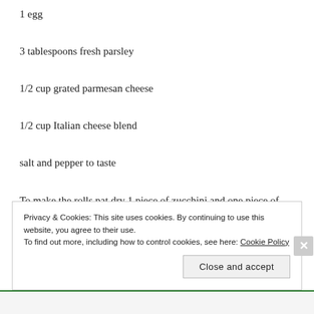1 egg
3 tablespoons fresh parsley
1/2 cup grated parmesan cheese
1/2 cup Italian cheese blend
salt and pepper to taste
To make the rolls pat dry 1 piece of zucchini and one piece of eggplant. Add 1 or 2 tablespoons cheese
Privacy & Cookies: This site uses cookies. By continuing to use this website, you agree to their use.
To find out more, including how to control cookies, see here: Cookie Policy
Close and accept